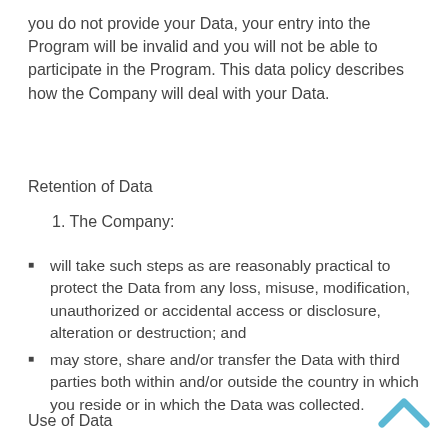you do not provide your Data, your entry into the Program will be invalid and you will not be able to participate in the Program. This data policy describes how the Company will deal with your Data.
Retention of Data
1. The Company:
will take such steps as are reasonably practical to protect the Data from any loss, misuse, modification, unauthorized or accidental access or disclosure, alteration or destruction; and
may store, share and/or transfer the Data with third parties both within and/or outside the country in which you reside or in which the Data was collected.
Use of Data